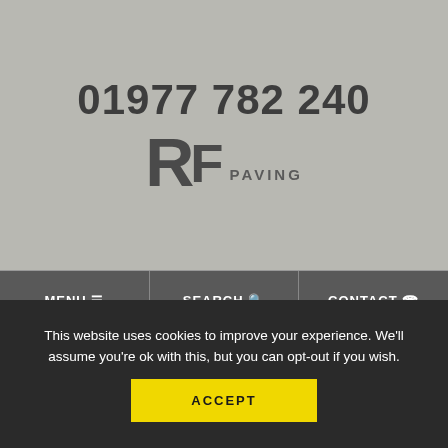01977 782 240
[Figure (logo): RF Paving logo with large stylized RF letters and PAVING text]
MENU  SEARCH  CONTACT
Delivery
Trade Centre
Become a Stockist
Homeowners
Tradesmen
Contact Us
This website uses cookies to improve your experience. We'll assume you're ok with this, but you can opt-out if you wish.
ACCEPT